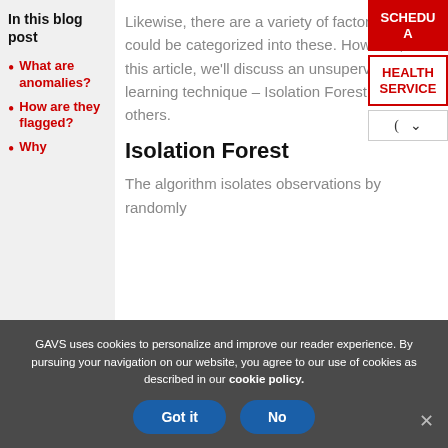In this blog post
What are anomalies?
How are they flagged?
Why
Likewise, there are a variety of factors that could be categorized into these. However, in this article, we'll discuss an unsupervised learning technique – Isolation Forest amongst others.
Isolation Forest
The algorithm isolates observations by randomly
GAVS uses cookies to personalize and improve our reader experience. By pursuing your navigation on our website, you agree to our use of cookies as described in our cookie policy.